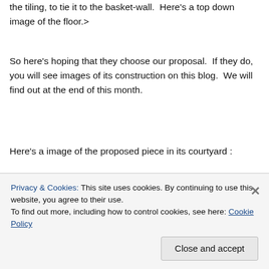the tiling, to tie it to the basket-wall.  Here's a top down image of the floor.>
So here's hoping that they choose our proposal.  If they do, you will see images of its construction on this blog.  We will find out at the end of this month.
Here's a image of the proposed piece in its courtyard :
[Figure (illustration): Architectural rendering of a low-rise building with dark roof, white/cream walls, brick accent strip, and multiple dark-framed windows. Some green trees visible. Light blue sky in background.]
Privacy & Cookies: This site uses cookies. By continuing to use this website, you agree to their use.
To find out more, including how to control cookies, see here: Cookie Policy
[Close and accept]